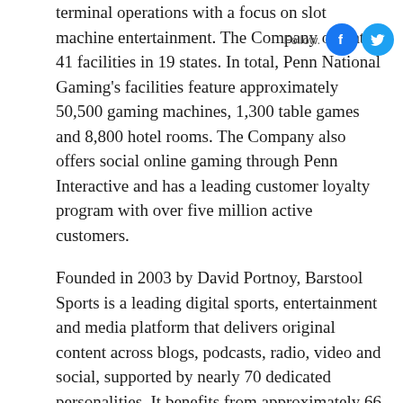terminal operations with a focus on slot machine entertainment. The Company operates 41 facilities in 19 states. In total, Penn National Gaming's facilities feature approximately 50,500 gaming machines, 1,300 table games and 8,800 hotel rooms. The Company also offers social online gaming through Penn Interactive and has a leading customer loyalty program with over five million active customers.
Founded in 2003 by David Portnoy, Barstool Sports is a leading digital sports, entertainment and media platform that delivers original content across blogs, podcasts, radio, video and social, supported by nearly 70 dedicated personalities. It benefits from approximately 66 million monthly unique visitors, including an estimated 48% of males and 44% of females in the Millennial and Generation X generations across the United States. In 2019, Barstool Sports grew by approximately 65%,